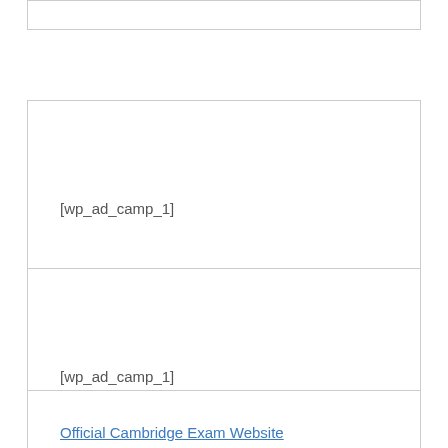[Figure (other): Top partial box with no visible content, cropped at top of page]
[wp_ad_camp_1]
[wp_ad_camp_1]
Official Cambridge Exam Website